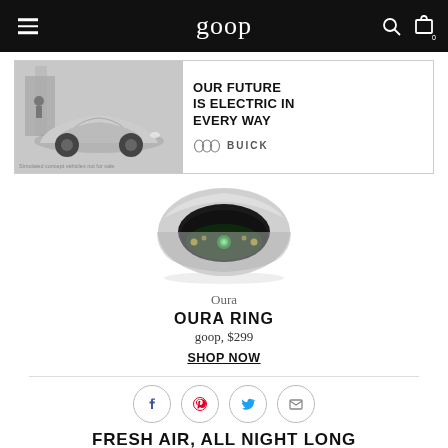goop
[Figure (photo): Buick advertisement banner: left side shows a silver Buick electric concept car, right side shows text 'OUR FUTURE IS ELECTRIC IN EVERY WAY' with Buick logo]
[Figure (photo): Oura Ring product photo: a silver smart ring with green LEDs and sensors visible on the inner surface]
Oura
OURA RING
goop, $299
SHOP NOW
[Figure (infographic): Social sharing icons: Facebook, Pinterest, Twitter, and Email circles]
FRESH AIR, ALL NIGHT LONG